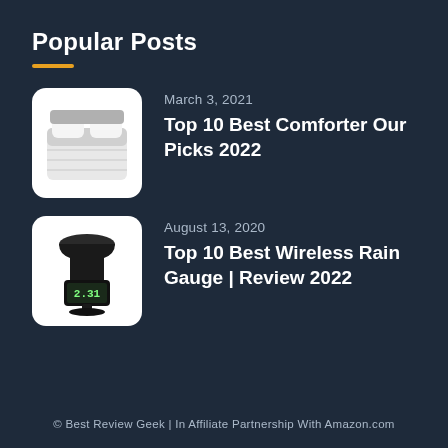Popular Posts
March 3, 2021 — Top 10 Best Comforter Our Picks 2022
August 13, 2020 — Top 10 Best Wireless Rain Gauge | Review 2022
© Best Review Geek | In Affiliate Partnership With Amazon.com